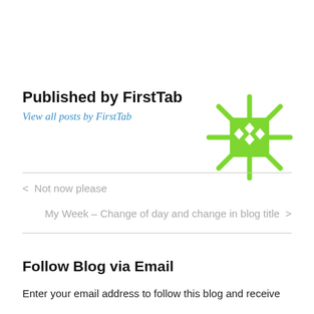Published by FirstTab
View all posts by FirstTab
[Figure (logo): Green starburst/snowflake logo icon with a square center containing diamond shapes and radiating spiky lines]
< Not now please
My Week – Change of day and change in blog title >
Follow Blog via Email
Enter your email address to follow this blog and receive